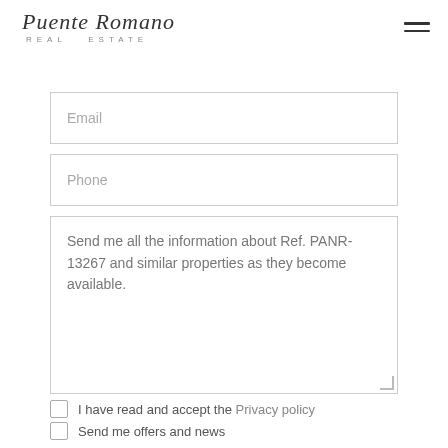[Figure (logo): Puente Romano Real Estate logo with handwritten script and subtitle]
Email
Phone
Send me all the information about Ref. PANR-13267 and similar properties as they become available.
I have read and accept the Privacy policy
Send me offers and news